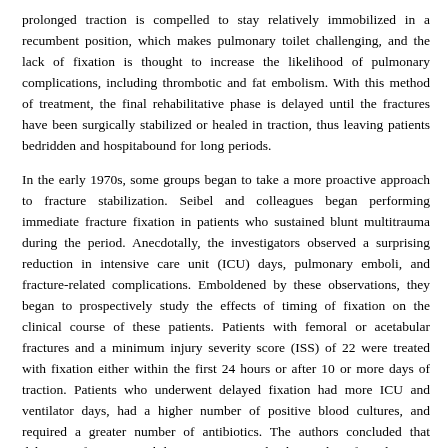prolonged traction is compelled to stay relatively immobilized in a recumbent position, which makes pulmonary toilet challenging, and the lack of fixation is thought to increase the likelihood of pulmonary complications, including thrombotic and fat embolism. With this method of treatment, the final rehabilitative phase is delayed until the fractures have been surgically stabilized or healed in traction, thus leaving patients bedridden and hospital-bound for long periods.
In the early 1970s, some groups began to take a more proactive approach to fracture stabilization. Seibel and colleagues began performing immediate fracture fixation in patients who sustained blunt multitrauma during this period. Anecdotally, the investigators observed a surprising reduction in intensive care unit (ICU) days, pulmonary emboli, and fracture-related complications. Emboldened by these observations, they began to prospectively study the effects of timing of fixation on the clinical course of these patients. Patients with femoral or acetabular fractures and a minimum injury severity score (ISS) of 22 were treated with fixation either within the first 24 hours or after 10 or more days of traction. Patients who underwent delayed fixation had more ICU and ventilator days, had a higher number of positive blood cultures, and required a greater number of antibiotics. The authors concluded that delaying fracture stabilization increased the risk of pulmonary complications from prolonged recumbency and nutritional depletion, as the authors observed a decrease in complications (for the late